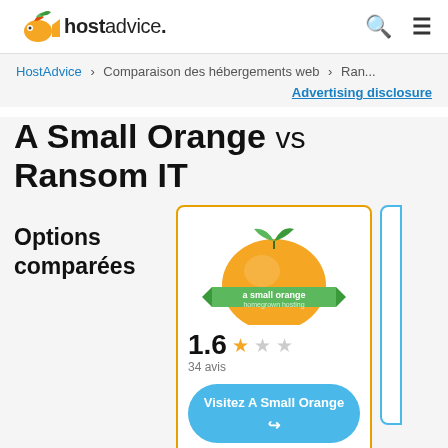hostadvice.
HostAdvice > Comparaison des hébergements web > Ran...
Advertising disclosure
A Small Orange vs Ransom IT
Options comparées
[Figure (logo): A Small Orange hosting logo - orange fruit with green leaf and green ribbon banner reading 'a small orange homegrown hosting']
1.6  34 avis
Visitez A Small Orange